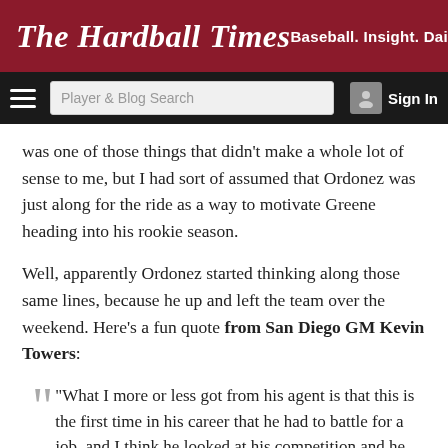The Hardball Times — Baseball. Insight. Daily.
was one of those things that didn’t make a whole lot of sense to me, but I had sort of assumed that Ordonez was just along for the ride as a way to motivate Greene heading into his rookie season.
Well, apparently Ordonez started thinking along those same lines, because he up and left the team over the weekend. Here’s a fun quote from San Diego GM Kevin Towers:
“What I more or less got from his agent is that this is the first time in his career that he had to battle for a job, and I think he looked at his competition and he thought [Greene] was playing